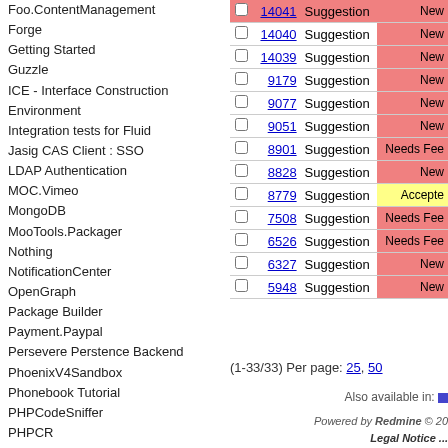Foo.ContentManagement
Forge
Getting Started
Guzzle
ICE - Interface Construction Environment
Integration tests for Fluid
Jasig CAS Client : SSO
LDAP Authentication
MOC.Vimeo
MongoDB
MooTools.Packager
Nothing
NotificationCenter
OpenGraph
Package Builder
Payment.Paypal
Persevere Perstence Backend
PhoenixV4Sandbox
Phonebook Tutorial
PHPCodeSniffer
PHPCR
Planet TYPO3
Semantic Web Integration (v5)
Smarty
Solr
Source Code Management
|  | ID | Type | Status |
| --- | --- | --- | --- |
|  | 14041 | Suggestion | New |
|  | 14040 | Suggestion | New |
|  | 14039 | Suggestion | New |
|  | 9179 | Suggestion | New |
|  | 9077 | Suggestion | New |
|  | 9051 | Suggestion | New |
|  | 8901 | Suggestion | Needs Fee... |
|  | 8828 | Suggestion | New |
|  | 8779 | Suggestion | Accepted |
|  | 7508 | Suggestion | Needs Fee... |
|  | 6526 | Suggestion | Needs Fee... |
|  | 6327 | Suggestion | New |
|  | 5948 | Suggestion | New |
(1-33/33) Per page: 25, 50
Also available in:
Powered by Redmine © 20...
Legal Notice ...